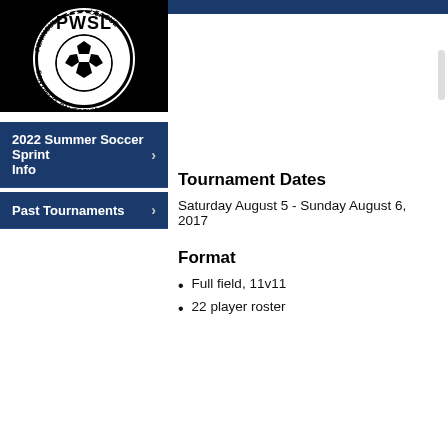[Figure (logo): PWSL Peninsula Women's Soccer League San Diego California circular logo with soccer ball on black background]
2022 Summer Soccer Sprint Info
Past Tournaments
Tournament Dates
Saturday August 5 - Sunday August 6, 2017
Format
Full field, 11v11
22 player roster